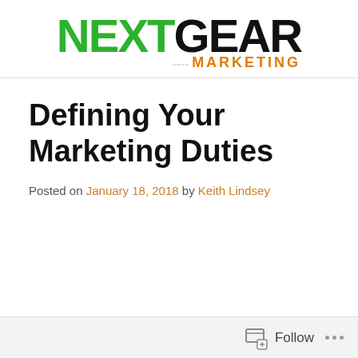[Figure (logo): NextGear Marketing logo with NEXT in green, GEAR in black, and MARKETING in orange below]
Defining Your Marketing Duties
Posted on January 18, 2018 by Keith Lindsey
Follow ...